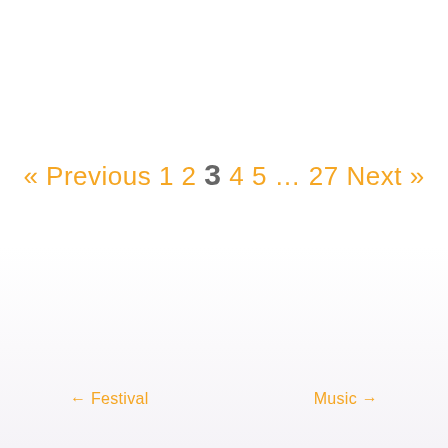« Previous 1 2 3 4 5 … 27 Next »
← Festival    Music →